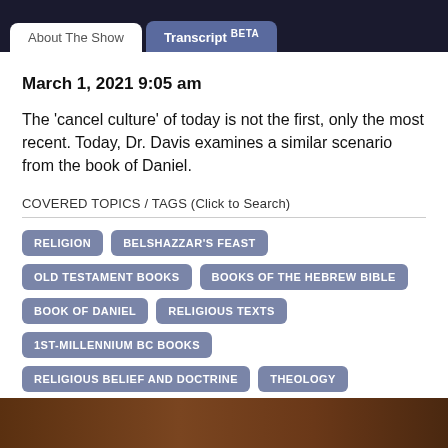About The Show | Transcript BETA
March 1, 2021 9:05 am
The 'cancel culture' of today is not the first, only the most recent. Today, Dr. Davis examines a similar scenario from the book of Daniel.
COVERED TOPICS / TAGS (Click to Search)
RELIGION
BELSHAZZAR'S FEAST
OLD TESTAMENT BOOKS
BOOKS OF THE HEBREW BIBLE
BOOK OF DANIEL
RELIGIOUS TEXTS
1ST-MILLENNIUM BC BOOKS
RELIGIOUS BELIEF AND DOCTRINE
THEOLOGY
CHRISTIANITY
CULTURE
[Figure (photo): Partial bottom image showing a brown/dark background, appears to be a show thumbnail or image partially visible at bottom of page]